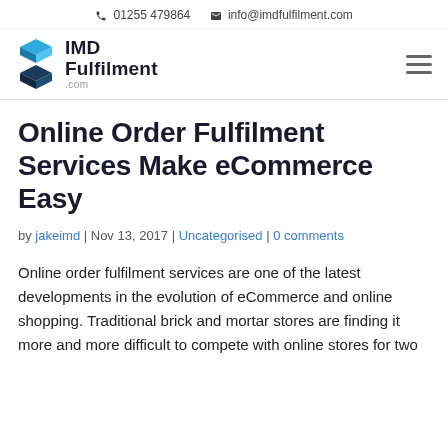📞 01255 479864   ✉ info@imdfulfilment.com
[Figure (logo): IMD Fulfilment .com logo with blue stacked cube icon on the left and text IMD Fulfilment .com on the right]
Online Order Fulfilment Services Make eCommerce Easy
by jakeimd | Nov 13, 2017 | Uncategorised | 0 comments
Online order fulfilment services are one of the latest developments in the evolution of eCommerce and online shopping. Traditional brick and mortar stores are finding it more and more difficult to compete with online stores for two